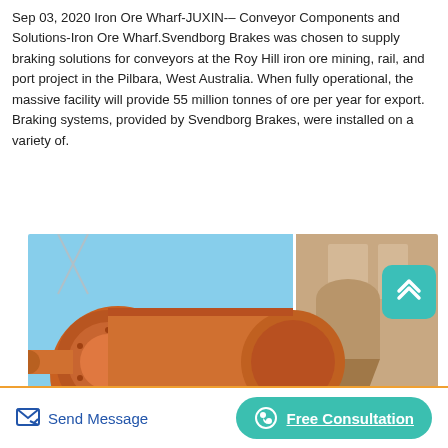Sep 03, 2020 Iron Ore Wharf-JUXIN-– Conveyor Components and Solutions-Iron Ore Wharf.Svendborg Brakes was chosen to supply braking solutions for conveyors at the Roy Hill iron ore mining, rail, and port project in the Pilbara, West Australia. When fully operational, the massive facility will provide 55 million tonnes of ore per year for export. Braking systems, provided by Svendborg Brakes, were installed on a variety of.
[Figure (photo): Industrial ball mill / drum equipment in orange/rust color against a blue sky background, with a building visible on the right side. Mining or ore processing equipment.]
Send Message | Free Consultation